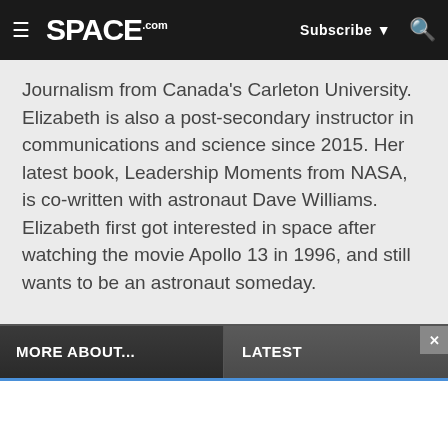SPACE.com — Subscribe | Search
Journalism from Canada's Carleton University. Elizabeth is also a post-secondary instructor in communications and science since 2015. Her latest book, Leadership Moments from NASA, is co-written with astronaut Dave Williams. Elizabeth first got interested in space after watching the movie Apollo 13 in 1996, and still wants to be an astronaut someday.
MORE ABOUT...
LATEST